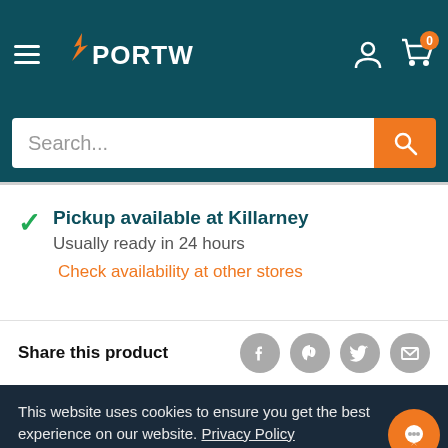[Figure (screenshot): Portwest website header with hamburger menu, logo, user icon, and cart icon with badge showing 0]
Search...
Pickup available at Killarney
Usually ready in 24 hours
Check availability at other stores
Share this product
This website uses cookies to ensure you get the best experience on our website. Privacy Policy
Preferences
Accept